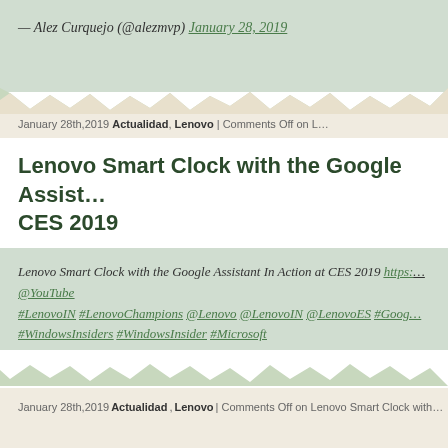— Alez Curquejo (@alezmvp) January 28, 2019
January 28th,2019 Actualidad, Lenovo | Comments Off on L
Lenovo Smart Clock with the Google Assist... CES 2019
Lenovo Smart Clock with the Google Assistant In Action at CES 2019 https:... @YouTube #LenovoIN #LenovoChampions @Lenovo @LenovoIN @LenovoES #Goog... #WindowsInsiders #WindowsInsider #Microsoft
— Alez Curquejo (@alezmvp) January 28, 2019
January 28th,2019 Actualidad, Lenovo | Comments Off on Lenovo Smart Clock with